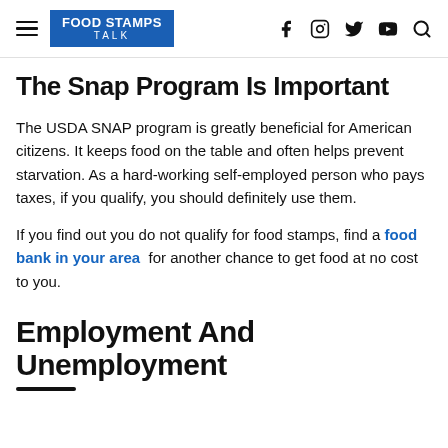FOOD STAMPS TALK
The Snap Program Is Important
The USDA SNAP program is greatly beneficial for American citizens. It keeps food on the table and often helps prevent starvation. As a hard-working self-employed person who pays taxes, if you qualify, you should definitely use them.
If you find out you do not qualify for food stamps, find a food bank in your area for another chance to get food at no cost to you.
Employment And Unemployment